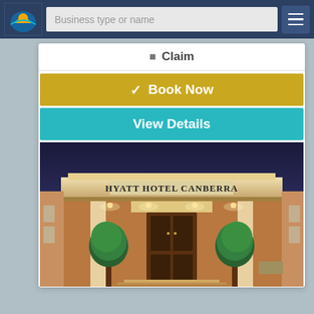Business type or name
Claim
Book Now
View Details
[Figure (photo): Exterior facade of Hyatt Hotel Canberra at dusk, showing illuminated entrance with two ornamental trees, classical columns, and signage reading HYATT HOTEL CANBERRA]